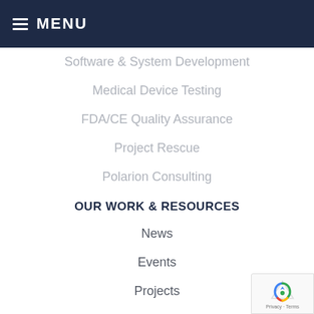MENU
Software & System Development
Medical Device Testing
FDA/CE Quality Assurance
Project Rescue
Polarion Consulting
OUR WORK & RESOURCES
News
Events
Projects
Case Studies
Blogs
FOLLOW US
[Figure (infographic): Social media icons: Facebook (f), Twitter (bird), LinkedIn (in)]
[Figure (other): reCAPTCHA badge with Privacy - Terms text]